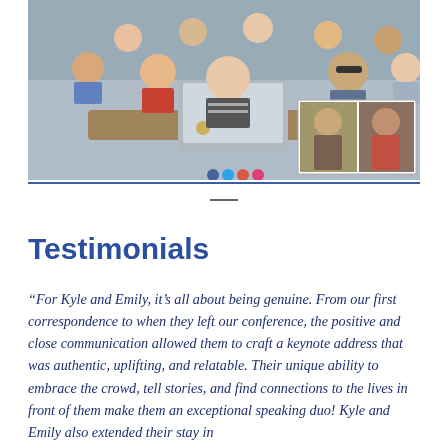[Figure (photo): Classroom photo showing students sitting at desks with laptops, smiling at camera. A video call inset in the lower right corner shows two people on screen.]
Testimonials
“For Kyle and Emily, it’s all about being genuine. From our first correspondence to when they left our conference, the positive and close communication allowed them to craft a keynote address that was authentic, uplifting, and relatable. Their unique ability to embrace the crowd, tell stories, and find connections to the lives in front of them make them an exceptional speaking duo! Kyle and Emily also extended their stay in